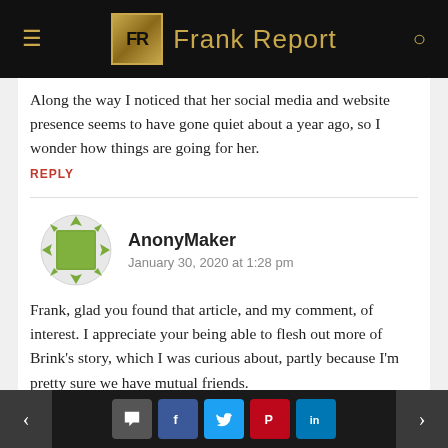Frank Report
Along the way I noticed that her social media and website presence seems to have gone quiet about a year ago, so I wonder how things are going for her.
REPLY
AnonyMaker
January 30, 2020 at 1:28 pm
Frank, glad you found that article, and my comment, of interest. I appreciate your being able to flesh out more of Brink's story, which I was curious about, partly because I'm pretty sure we have mutual friends.
< > comment share buttons